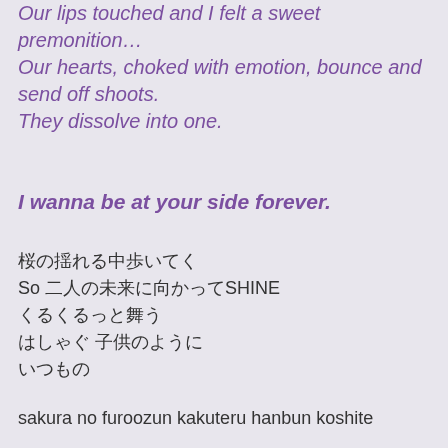Our lips touched and I felt a sweet premonition…
Our hearts, choked with emotion, bounce and send off shoots.
They dissolve into one.
I wanna be at your side forever.
桜の揺れる中歩いてく
So 二人の未来に向かってSHINE
くるくるっと舞う
はしゃぐ 子供のように
いつもの
sakura no furoozun kakuteru hanbun koshite